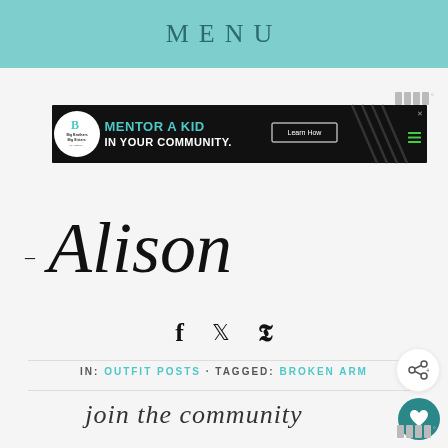MENU
[Figure (screenshot): Big Brothers Big Sisters advertisement: 'MENTOR A KID IN YOUR COMMUNITY.' with a Learn How button on dark background]
[Figure (illustration): Cursive signature reading '- Alison']
[Figure (infographic): Social share icons: Facebook, Twitter, Pinterest]
IN: OUTFIT POSTS · TAGGED: BROKEN ARM
join the community